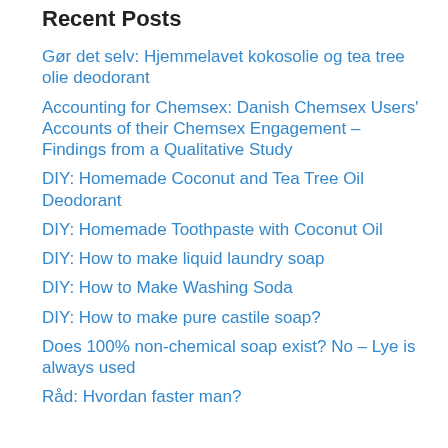Recent Posts
Gør det selv: Hjemmelavet kokosolie og tea tree olie deodorant
Accounting for Chemsex: Danish Chemsex Users' Accounts of their Chemsex Engagement – Findings from a Qualitative Study
DIY: Homemade Coconut and Tea Tree Oil Deodorant
DIY: Homemade Toothpaste with Coconut Oil
DIY: How to make liquid laundry soap
DIY: How to Make Washing Soda
DIY: How to make pure castile soap?
Does 100% non-chemical soap exist? No – Lye is always used
Råd: Hvordan faster man?